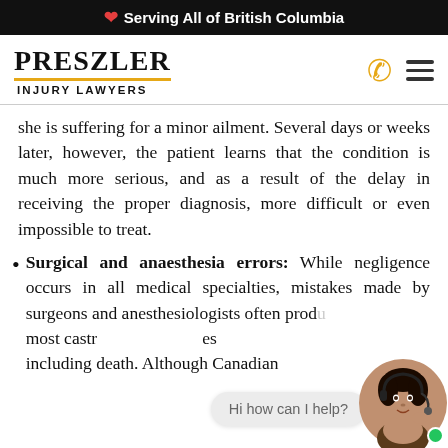🍁 Serving All of British Columbia
[Figure (logo): Preszler Injury Lawyers logo with phone and menu icons]
she is suffering for a minor ailment. Several days or weeks later, however, the patient learns that the condition is much more serious, and as a result of the delay in receiving the proper diagnosis, more difficult or even impossible to treat.
Surgical and anaesthesia errors: While negligence occurs in all medical specialties, mistakes made by surgeons and anesthesiologists often produ... most castr... es... including death. Although Canadian
[Figure (photo): Chat widget with customer service representative avatar and speech bubble saying 'Hi how can I help?']